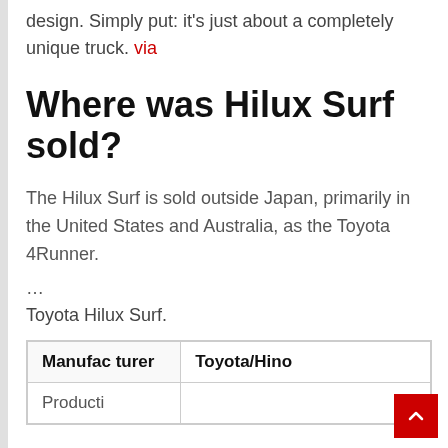design. Simply put: it's just about a completely unique truck. via
Where was Hilux Surf sold?
The Hilux Surf is sold outside Japan, primarily in the United States and Australia, as the Toyota 4Runner.
…
Toyota Hilux Surf.
|  |  |
| --- | --- |
| Manufacturer | Toyota/Hino |
| Producti |  |